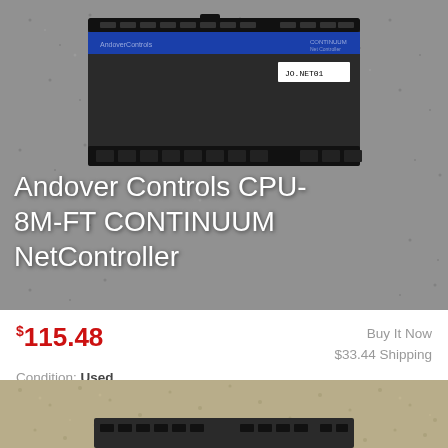[Figure (photo): Photo of Andover Controls CPU-8M-FT CONTINUUM NetController device on granite surface, with label JO.NET01]
Andover Controls CPU-8M-FT CONTINUUM NetController
$115.48
Buy It Now $33.44 Shipping
Condition: Used
Location: Canada
ANDOVER CONTROLS CONTINUUM NETCONTROLLER MODEL: CPU-8M UNIT POWERS ON. WE WILL GURANTEE THE UNIT TO BE FUNCTIONAL. UNIT IS USED AND HAS SOME SCUFFS AND ... more
[Figure (photo): Partial photo of another device on carpet/textile surface]